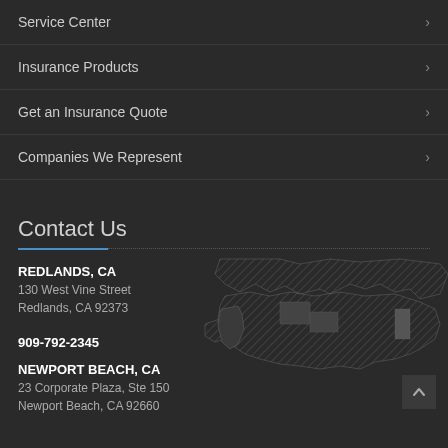Service Center
Insurance Products
Get an Insurance Quote
Companies We Represent
Contact Us
REDLANDS, CA
130 West Vine Street
Redlands, CA 92373
909-792-2345
[Figure (map): Stylized dark map of the United States with hatched/diagonal line pattern overlay]
NEWPORT BEACH, CA
23 Corporate Plaza, Ste 150
Newport Beach, CA 92660